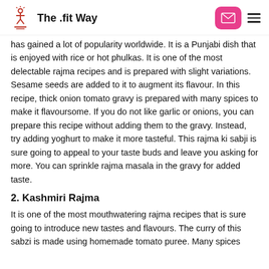The .fit Way
has gained a lot of popularity worldwide. It is a Punjabi dish that is enjoyed with rice or hot phulkas. It is one of the most delectable rajma recipes and is prepared with slight variations. Sesame seeds are added to it to augment its flavour. In this recipe, thick onion tomato gravy is prepared with many spices to make it flavoursome. If you do not like garlic or onions, you can prepare this recipe without adding them to the gravy. Instead, try adding yoghurt to make it more tasteful. This rajma ki sabji is sure going to appeal to your taste buds and leave you asking for more. You can sprinkle rajma masala in the gravy for added taste.
2. Kashmiri Rajma
It is one of the most mouthwatering rajma recipes that is sure going to introduce new tastes and flavours. The curry of this sabzi is made using homemade tomato puree. Many spices